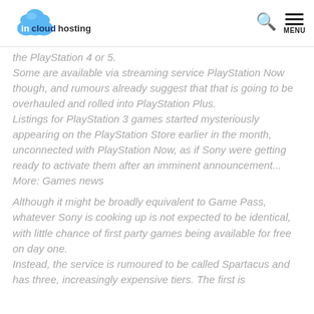incloudhosting
the PlayStation 4 or 5.
Some are available via streaming service PlayStation Now though, and rumours already suggest that that is going to be overhauled and rolled into PlayStation Plus.
Listings for PlayStation 3 games started mysteriously appearing on the PlayStation Store earlier in the month, unconnected with PlayStation Now, as if Sony were getting ready to activate them after an imminent announcement...
More: Games news
Although it might be broadly equivalent to Game Pass, whatever Sony is cooking up is not expected to be identical, with little chance of first party games being available for free on day one.
Instead, the service is rumoured to be called Spartacus and has three, increasingly expensive tiers. The first is